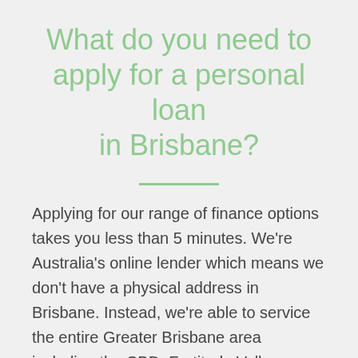What do you need to apply for a personal loan in Brisbane?
Applying for our range of finance options takes you less than 5 minutes. We're Australia's online lender which means we don't have a physical address in Brisbane. Instead, we're able to service the entire Greater Brisbane area including the CBD, Fortitude Valley, South Brisbane, Redcliffe, Beenleigh, Sherwood, Ipswich, Logan City, Moreton Bay, and Redland City, as well as all surrounding areas online